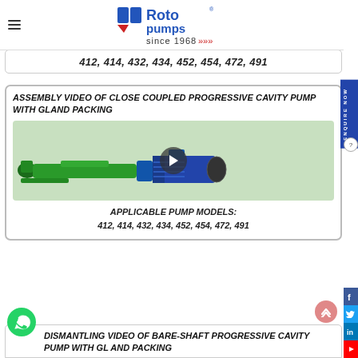[Figure (logo): Roto Pumps logo with blue and red icon, text 'Roto pumps since 1968' with red chevrons]
412, 414, 432, 434, 452, 454, 472, 491
ASSEMBLY VIDEO OF CLOSE COUPLED PROGRESSIVE CAVITY PUMP WITH GLAND PACKING
[Figure (photo): Progressive cavity pump assembly video thumbnail showing green pump with motor, play button overlay]
APPLICABLE PUMP MODELS:
412, 414, 432, 434, 452, 454, 472, 491
DISMANTLING VIDEO OF BARE-SHAFT PROGRESSIVE CAVITY PUMP WITH GLAND PACKING